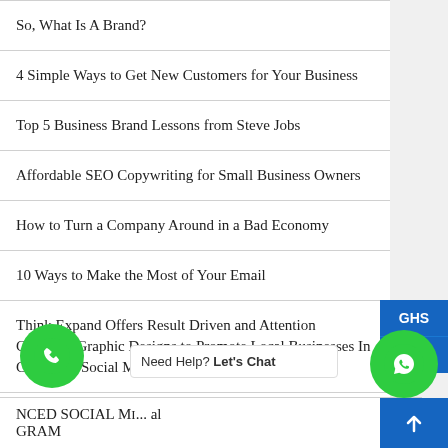So, What Is A Brand?
4 Simple Ways to Get New Customers for Your Business
Top 5 Business Brand Lessons from Steve Jobs
Affordable SEO Copywriting for Small Business Owners
How to Turn a Company Around in a Bad Economy
10 Ways to Make the Most of Your Email
Think Expand Offers Result Driven and Attention Grabbing Graphic Designs to Promote Local Businesses In Ghana On Social Media
Top 5 Social Media Secrets Every Ghanaian Marketer Must Know
NCED SOCIAL MI... GRAM